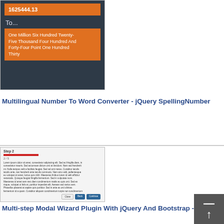[Figure (screenshot): Screenshot of a number-to-words converter UI showing '1625444.13' converted to 'One Million Six Hundred Twenty-Five Thousand Four Hundred And Forty-Four Point One Hundred Thirty' in orange boxes on a dark background]
Multilingual Number To Word Converter - jQuery SpellingNumber
[Figure (screenshot): Screenshot of a multi-step modal wizard plugin showing Step 2 with a red progress bar, step counter '2/5', lorem ipsum text body, and Close/Back/Continue buttons]
Multi-step Modal Wizard Plugin With jQuery And Bootstrap - Multi-